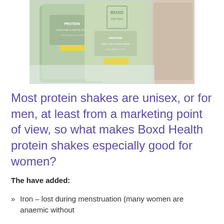[Figure (photo): Green protein powder bags from Boxd Health with 'PROTEIN' text visible, arranged on a light blue/grey background]
Most protein shakes are unisex, or for men, at least from a marketing point of view, so what makes Boxd Health protein shakes especially good for women?
The have added:
Iron – lost during menstruation (many women are anaemic without